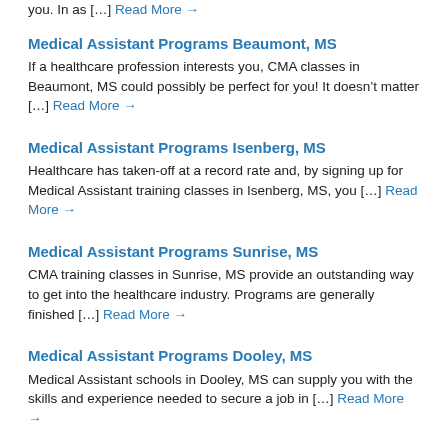you. In as [...] Read More →
Medical Assistant Programs Beaumont, MS
If a healthcare profession interests you, CMA classes in Beaumont, MS could possibly be perfect for you! It doesn't matter [...] Read More →
Medical Assistant Programs Isenberg, MS
Healthcare has taken-off at a record rate and, by signing up for Medical Assistant training classes in Isenberg, MS, you [...] Read More →
Medical Assistant Programs Sunrise, MS
CMA training classes in Sunrise, MS provide an outstanding way to get into the healthcare industry. Programs are generally finished [...] Read More →
Medical Assistant Programs Dooley, MS
Medical Assistant schools in Dooley, MS can supply you with the skills and experience needed to secure a job in [...] Read More →